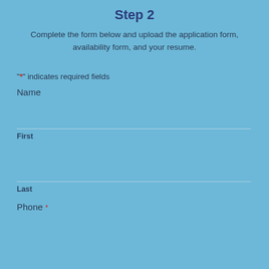Step 2
Complete the form below and upload the application form, availability form, and your resume.
"*" indicates required fields
Name
First
Last
Phone *